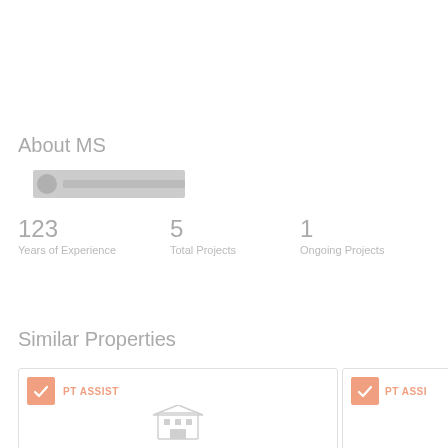About MS
[Figure (logo): Company logo bar placeholder (MS logo)]
123
Years of Experience
5
Total Projects
1
Ongoing Projects
Similar Properties
[Figure (other): Property card with PT ASSIST badge and building icon]
[Figure (other): Partial property card with PT ASSIST badge (right side, partially visible)]